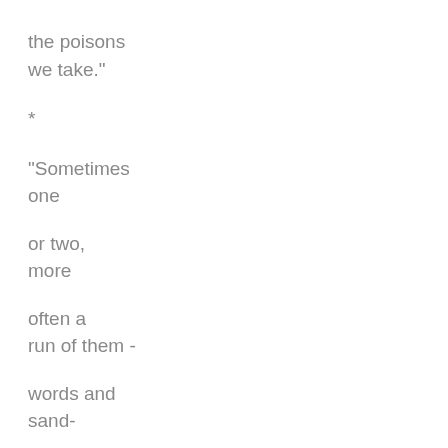the poisons
we take."
*
"Sometimes
one

or two,
more

often a
run of them -

words and
sand-

hill cranes."
*